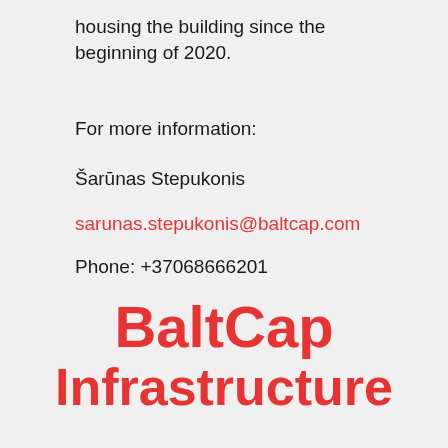housing the building since the beginning of 2020.
For more information:
Šarūnas Stepukonis
sarunas.stepukonis@baltcap.com
Phone: +37068666201
BaltCap Infrastructure